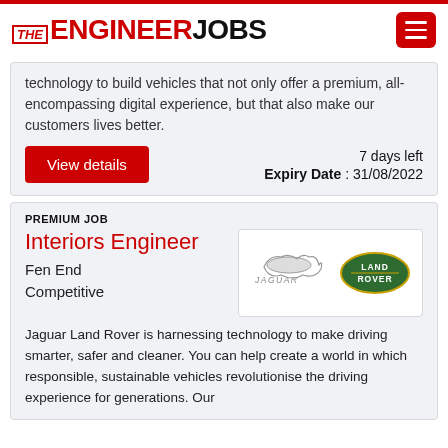THE ENGINEER JOBS
technology to build vehicles that not only offer a premium, all-encompassing digital experience, but that also make our customers lives better.
7 days left
Expiry Date : 31/08/2022
View details
PREMIUM JOB
Interiors Engineer
Fen End
Competitive
[Figure (logo): Jaguar Land Rover logos side by side on white background]
Jaguar Land Rover is harnessing technology to make driving smarter, safer and cleaner. You can help create a world in which responsible, sustainable vehicles revolutionise the driving experience for generations. Our